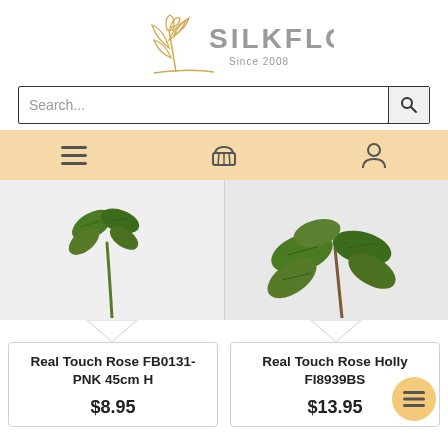[Figure (logo): Silkflora logo with floral illustration and text 'SILKFLORA Since 2008']
Search...
[Figure (infographic): Navigation bar with hamburger menu, shopping basket, and user profile icons on an orange/peach background]
[Figure (photo): Left product: artificial rose stem with green leaves on light grey background]
Real Touch Rose FB0131-PNK 45cm H
$8.95
[Figure (photo): Right product: artificial rose holly stem with green leaves on light grey background]
Real Touch Rose Holly FI8939BS
$13.95